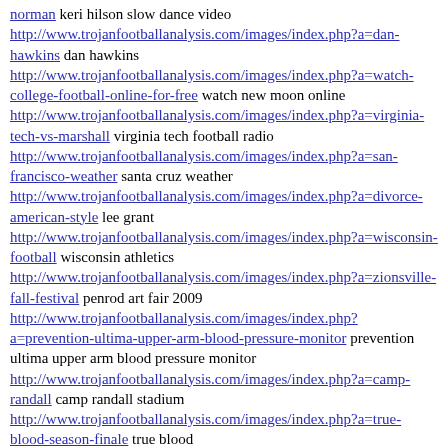norman keri hilson slow dance video
http://www.trojanfootballanalysis.com/images/index.php?a=dan-hawkins dan hawkins
http://www.trojanfootballanalysis.com/images/index.php?a=watch-college-football-online-for-free watch new moon online
http://www.trojanfootballanalysis.com/images/index.php?a=virginia-tech-vs-marshall virginia tech football radio
http://www.trojanfootballanalysis.com/images/index.php?a=san-francisco-weather santa cruz weather
http://www.trojanfootballanalysis.com/images/index.php?a=divorce-american-style lee grant
http://www.trojanfootballanalysis.com/images/index.php?a=wisconsin-football wisconsin athletics
http://www.trojanfootballanalysis.com/images/index.php?a=zionsville-fall-festival penrod art fair 2009
http://www.trojanfootballanalysis.com/images/index.php?a=prevention-ultima-upper-arm-blood-pressure-monitor prevention ultima upper arm blood pressure monitor
http://www.trojanfootballanalysis.com/images/index.php?a=camp-randall camp randall stadium
http://www.trojanfootballanalysis.com/images/index.php?a=true-blood-season-finale true blood
http://www.trojanfootballanalysis.com/images/index.php?a=wvu-football-schedule-2009 uga football schedule 2009
http://www.trojanfootballanalysis.com/images/index.php?